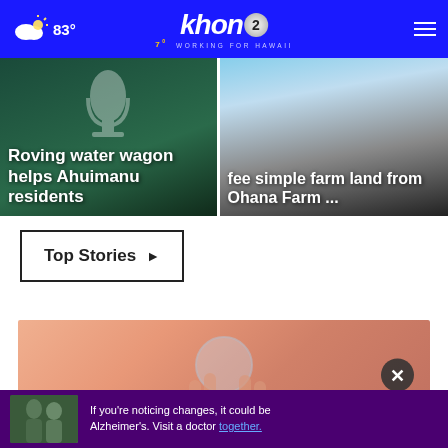83° | KHON2 — Working for Hawaii
[Figure (screenshot): News card: Roving water wagon helps Ahuimanu residents — image with microphone icon on dark green background]
[Figure (screenshot): News card: fee simple farm land from Ohana Farm ... — image with sky/dark landscape background]
Top Stories ▶
[Figure (photo): Close-up photo of hands holding a glass of water, peach/skin-tone background]
[Figure (photo): Advertisement banner: two men outdoors. Text: If you're noticing changes, it could be Alzheimer's. Visit a doctor together.]